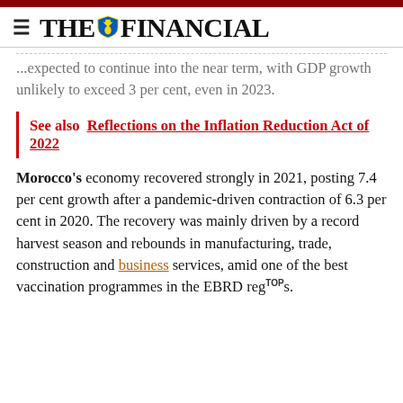THE FINANCIAL
...expected to continue into the near term, with GDP growth unlikely to exceed 3 per cent, even in 2023.
See also  Reflections on the Inflation Reduction Act of 2022
Morocco's economy recovered strongly in 2021, posting 7.4 per cent growth after a pandemic-driven contraction of 6.3 per cent in 2020. The recovery was mainly driven by a record harvest season and rebounds in manufacturing, trade, construction and business services, amid one of the best vaccination programmes in the EBRD regions.